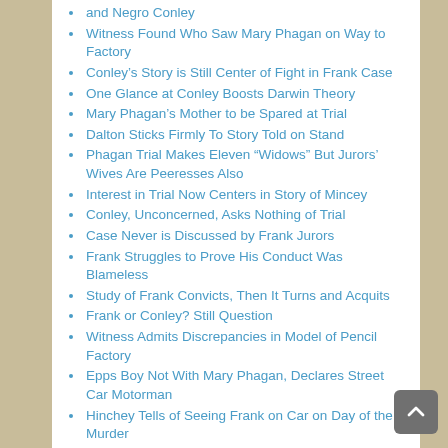and Negro Conley
Witness Found Who Saw Mary Phagan on Way to Factory
Conley’s Story is Still Center of Fight in Frank Case
One Glance at Conley Boosts Darwin Theory
Mary Phagan’s Mother to be Spared at Trial
Dalton Sticks Firmly To Story Told on Stand
Phagan Trial Makes Eleven “Widows” But Jurors’ Wives Are Peeresses Also
Interest in Trial Now Centers in Story of Mincey
Conley, Unconcerned, Asks Nothing of Trial
Case Never is Discussed by Frank Jurors
Frank Struggles to Prove His Conduct Was Blameless
Study of Frank Convicts, Then It Turns and Acquits
Frank or Conley? Still Question
Witness Admits Discrepancies in Model of Pencil Factory
Epps Boy Not With Mary Phagan, Declares Street Car Motorman
Hinchey Tells of Seeing Frank on Car on Day of the Murder
Harry Scott and “Boots” Rogers Recalled to Stand by